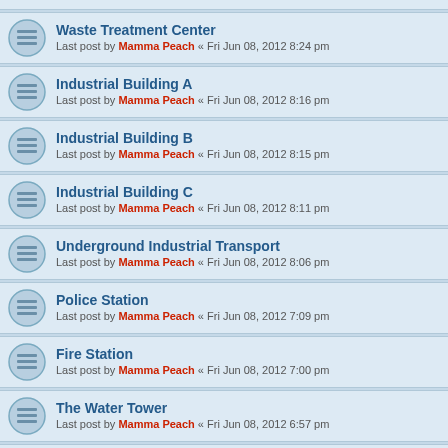Waste Treatment Center
Last post by Mamma Peach « Fri Jun 08, 2012 8:24 pm
Industrial Building A
Last post by Mamma Peach « Fri Jun 08, 2012 8:16 pm
Industrial Building B
Last post by Mamma Peach « Fri Jun 08, 2012 8:15 pm
Industrial Building C
Last post by Mamma Peach « Fri Jun 08, 2012 8:11 pm
Underground Industrial Transport
Last post by Mamma Peach « Fri Jun 08, 2012 8:06 pm
Police Station
Last post by Mamma Peach « Fri Jun 08, 2012 7:09 pm
Fire Station
Last post by Mamma Peach « Fri Jun 08, 2012 7:00 pm
The Water Tower
Last post by Mamma Peach « Fri Jun 08, 2012 6:57 pm
Post Office
Last post by Mamma Peach « Fri Jun 08, 2012 6:53 pm
Theater
Last post by Mamma Peach « Fri Jun 08, 2012 5:09 pm
Restaurant